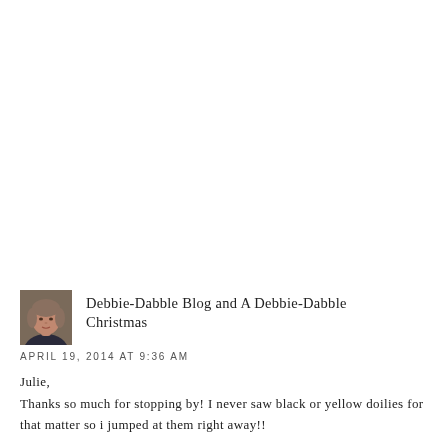[Figure (photo): Small square avatar photo of a woman with short gray-brown hair, wearing a dark top, against a neutral background.]
Debbie-Dabble Blog and A Debbie-Dabble Christmas
APRIL 19, 2014 AT 9:36 AM
Julie,
Thanks so much for stopping by! I never saw black or yellow doilies for that matter so i jumped at them right away!!